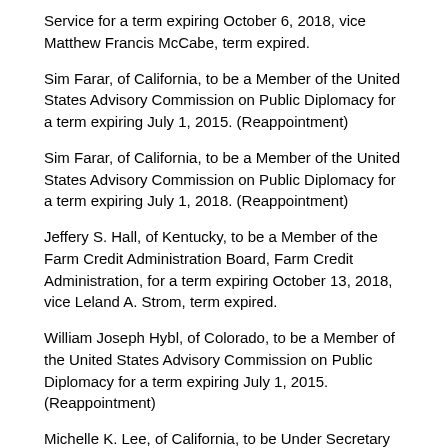Service for a term expiring October 6, 2018, vice Matthew Francis McCabe, term expired.
Sim Farar, of California, to be a Member of the United States Advisory Commission on Public Diplomacy for a term expiring July 1, 2015. (Reappointment)
Sim Farar, of California, to be a Member of the United States Advisory Commission on Public Diplomacy for a term expiring July 1, 2018. (Reappointment)
Jeffery S. Hall, of Kentucky, to be a Member of the Farm Credit Administration Board, Farm Credit Administration, for a term expiring October 13, 2018, vice Leland A. Strom, term expired.
William Joseph Hybl, of Colorado, to be a Member of the United States Advisory Commission on Public Diplomacy for a term expiring July 1, 2015. (Reappointment)
Michelle K. Lee, of California, to be Under Secretary of Commerce for Intellectual Property and Director of the United States Patent and Trademark Office, vice David J. Kappos, resigned.